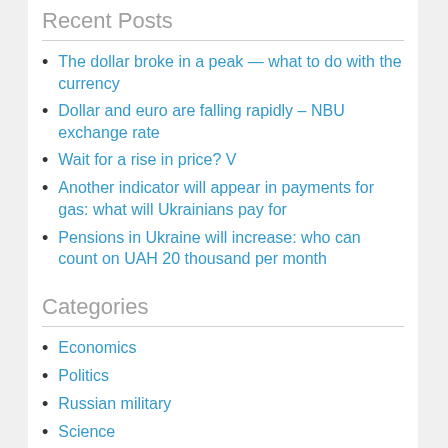Recent Posts
The dollar broke in a peak — what to do with the currency
Dollar and euro are falling rapidly – NBU exchange rate
Wait for a rise in price? V
Another indicator will appear in payments for gas: what will Ukrainians pay for
Pensions in Ukraine will increase: who can count on UAH 20 thousand per month
Categories
Economics
Politics
Russian military
Science